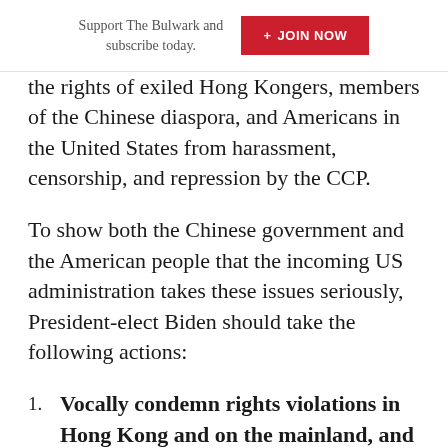Support The Bulwark and subscribe today. + JOIN NOW
the rights of exiled Hong Kongers, members of the Chinese diaspora, and Americans in the United States from harassment, censorship, and repression by the CCP.
To show both the Chinese government and the American people that the incoming US administration takes these issues seriously, President-elect Biden should take the following actions:
Vocally condemn rights violations in Hong Kong and on the mainland, and meet with ...